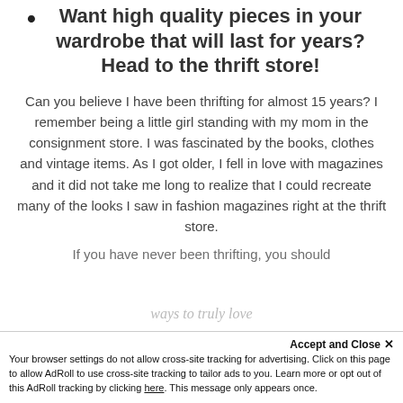Want high quality pieces in your wardrobe that will last for years?  Head to the thrift store!
Can you believe I have been thrifting for almost 15 years?  I remember being a little girl standing with my mom in the consignment store.  I was fascinated by the books, clothes and vintage items.  As I got older, I fell in love with magazines and it did not take me long to realize that I could recreate many of the looks I saw in fashion magazines right at the thrift store.
If you have never been thrifting, you should
ways to truly love
Accept and Close ✕
Your browser settings do not allow cross-site tracking for advertising. Click on this page to allow AdRoll to use cross-site tracking to tailor ads to you. Learn more or opt out of this AdRoll tracking by clicking here. This message only appears once.